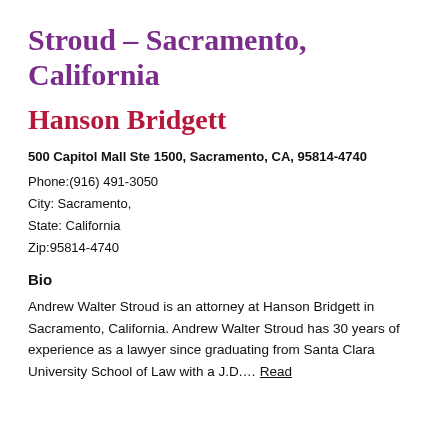Stroud – Sacramento, California
Hanson Bridgett
500 Capitol Mall Ste 1500, Sacramento, CA, 95814-4740
Phone:(916) 491-3050
City: Sacramento,
State: California
Zip:95814-4740
Bio
Andrew Walter Stroud is an attorney at Hanson Bridgett in Sacramento, California. Andrew Walter Stroud has 30 years of experience as a lawyer since graduating from Santa Clara University School of Law with a J.D.... Read